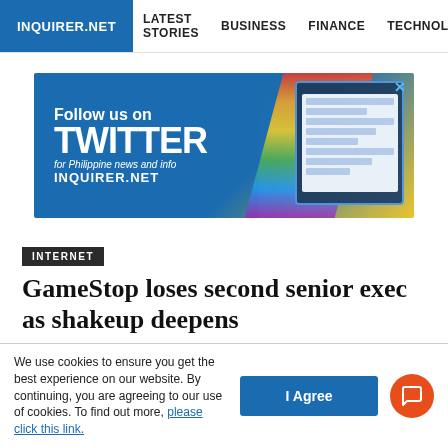INQUIRER.NET  LATEST STORIES  BUSINESS  FINANCE  TECHNOLO
[Figure (other): Advertisement banner: Follow us on TWITTER for Philippine news and info INQUIRER.NET, with rainbow stripe and device mockup]
INTERNET
GameStop loses second senior exec as shakeup deepens
Reuters/Inquirer.net Los Angeles / 06:01 AM March 23, 2021
We use cookies to ensure you get the best experience on our website. By continuing, you are agreeing to our use of cookies. To find out more, please click this link.